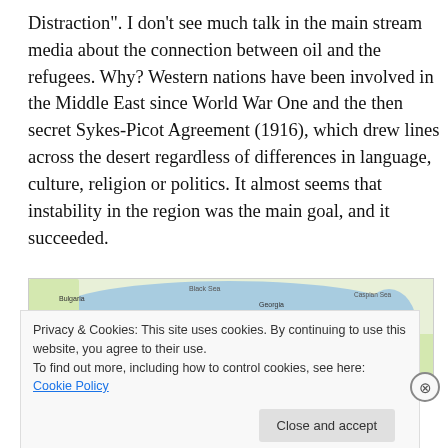Distraction". I don't see much talk in the main stream media about the connection between oil and the refugees. Why? Western nations have been involved in the Middle East since World War One and the then secret Sykes-Picot Agreement (1916), which drew lines across the desert regardless of differences in language, culture, religion or politics. It almost seems that instability in the region was the main goal, and it succeeded.
[Figure (map): A map showing the Black Sea region including Bulgaria, Georgia, Caucasus Sea area, with a colored route line passing through.]
Privacy & Cookies: This site uses cookies. By continuing to use this website, you agree to their use.
To find out more, including how to control cookies, see here: Cookie Policy